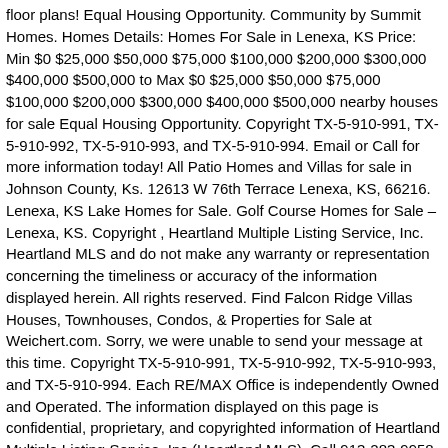floor plans! Equal Housing Opportunity. Community by Summit Homes. Homes Details: Homes For Sale in Lenexa, KS Price: Min $0 $25,000 $50,000 $75,000 $100,000 $200,000 $300,000 $400,000 $500,000 to Max $0 $25,000 $50,000 $75,000 $100,000 $200,000 $300,000 $400,000 $500,000 nearby houses for sale Equal Housing Opportunity. Copyright TX-5-910-991, TX-5-910-992, TX-5-910-993, and TX-5-910-994. Email or Call for more information today! All Patio Homes and Villas for sale in Johnson County, Ks. 12613 W 76th Terrace Lenexa, KS, 66216. Lenexa, KS Lake Homes for Sale. Golf Course Homes for Sale – Lenexa, KS. Copyright , Heartland Multiple Listing Service, Inc. Heartland MLS and do not make any warranty or representation concerning the timeliness or accuracy of the information displayed herein. All rights reserved. Find Falcon Ridge Villas Houses, Townhouses, Condos, & Properties for Sale at Weichert.com. Sorry, we were unable to send your message at this time. Copyright TX-5-910-991, TX-5-910-992, TX-5-910-993, and TX-5-910-994. Each RE/MAX Office is independently Owned and Operated. The information displayed on this page is confidential, proprietary, and copyrighted information of Heartland Multiple Listing Service, Inc.(Heartland MLS). Call 913-283-9958 VILLAS With Better Homes and Gardens ® Real Estate, it's easy to find the latest homes for sale in Lenexa, KS. FHA and VA Loans -- A Seller's Perspective. There are 457 real estate listings found in Lenexa, KS.View our Lenexa real estate area information to learn about the weather, local school districts, demographics, and general information about